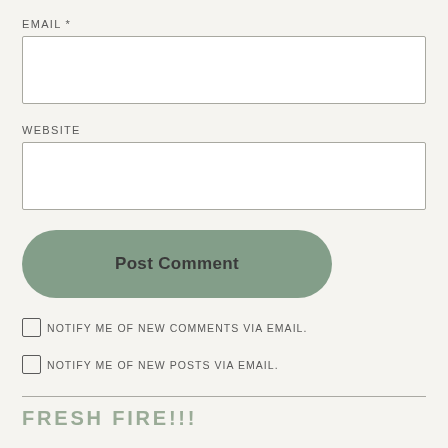EMAIL *
[Figure (other): Empty email input text field with border]
WEBSITE
[Figure (other): Empty website input text field with border]
Post Comment
NOTIFY ME OF NEW COMMENTS VIA EMAIL.
NOTIFY ME OF NEW POSTS VIA EMAIL.
FRESH FIRE!!!